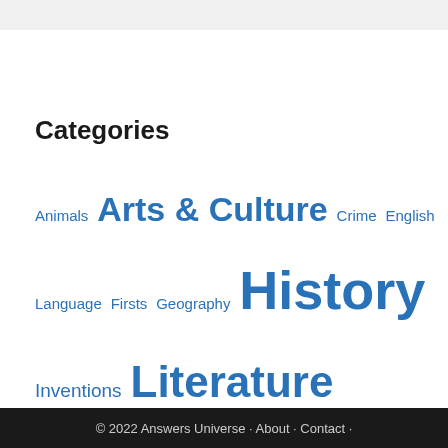Categories
Animals Arts & Culture Crime English Language Firsts Geography History Inventions Literature Movies Myths People Religion Science Sports Television Uncategorized
© 2022 Answers Universe · About · Contact ·